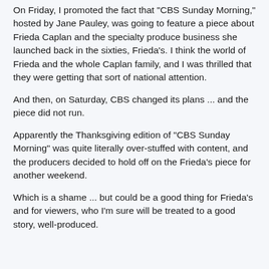On Friday, I promoted the fact that "CBS Sunday Morning," hosted by Jane Pauley, was going to feature a piece about Frieda Caplan and the specialty produce business she launched back in the sixties, Frieda's. I think the world of Frieda and the whole Caplan family, and I was thrilled that they were getting that sort of national attention.
And then, on Saturday, CBS changed its plans ... and the piece did not run.
Apparently the Thanksgiving edition of "CBS Sunday Morning" was quite literally over-stuffed with content, and the producers decided to hold off on the Frieda's piece for another weekend.
Which is a shame ... but could be a good thing for Frieda's and for viewers, who I'm sure will be treated to a good story, well-produced.